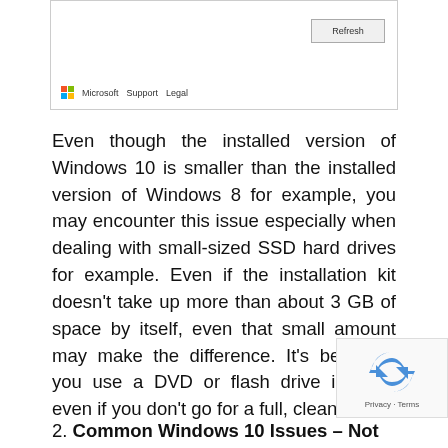[Figure (screenshot): Browser footer area showing a Refresh button and Microsoft/Support/Legal links]
Even though the installed version of Windows 10 is smaller than the installed version of Windows 8 for example, you may encounter this issue especially when dealing with small-sized SSD hard drives for example. Even if the installation kit doesn't take up more than about 3 GB of space by itself, even that small amount may make the difference. It's best that you use a DVD or flash drive instead, even if you don't go for a full, clean install.
2. Common Windows 10 Issues – Not